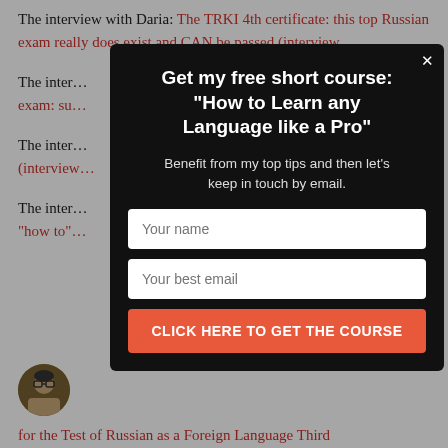The interview with Daria: The TRKI 4th certificate: this top Russian exam really does exist and CAN be passed (interview…
The inter… exam: su…
The inter… (interview…
The inter… "how to"…
[Figure (photo): Circular avatar photo of a person wearing glasses]
for the Test of Russian as a Foreign Language Third
[Figure (screenshot): Modal popup overlay with black background containing: title 'Get my free short course: "How to Learn any Language like a Pro"', subtitle 'Benefit from my top tips and then let's keep in touch by email.', two input fields 'Your name' and 'Your best email', and a button 'CLICK HERE TO GET THE COURSE'. Close button 'x' in top right.]